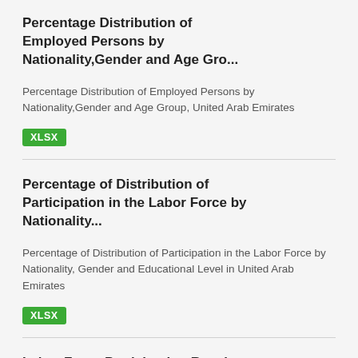Percentage Distribution of Employed Persons by Nationality,Gender and Age Gro...
Percentage Distribution of Employed Persons by Nationality,Gender and Age Group, United Arab Emirates
XLSX
Percentage of Distribution of Participation in the Labor Force by Nationality...
Percentage of Distribution of Participation in the Labor Force by Nationality, Gender and Educational Level in United Arab Emirates
XLSX
Labor Force Participation Rate by Nationality, Gender and Marital...